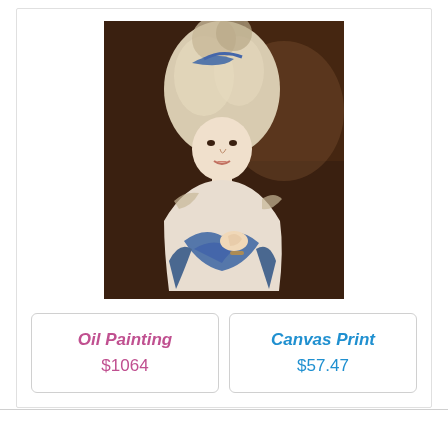[Figure (photo): Classical oil portrait painting of an 18th-century woman with a large powdered wig adorned with a blue ribbon and feathers, wearing a white and blue dress, holding fabric to her chest, dark brown background.]
Oil Painting
$1064
Canvas Print
$57.47